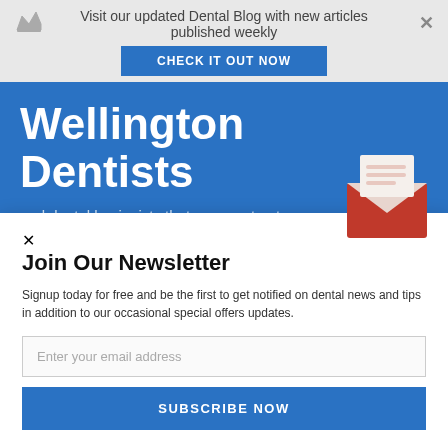Visit our updated Dental Blog with new articles published weekly
CHECK IT OUT NOW
Wellington Dentists
and dental hygienists that you can trust.
Join Our Newsletter
Signup today for free and be the first to get notified on dental news and tips in addition to our occasional special offers updates.
Enter your email address
SUBSCRIBE NOW